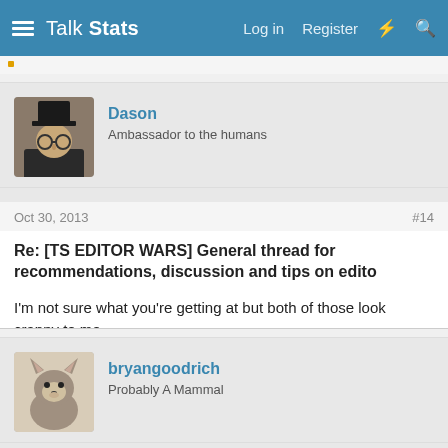Talk Stats — Log in   Register
Dason
Ambassador to the humans
Oct 30, 2013   #14
Re: [TS EDITOR WARS] General thread for recommendations, discussion and tips on edito
I'm not sure what you're getting at but both of those look crappy to me.
bryangoodrich
Probably A Mammal
Oct 31, 2013   #15
Re: [TS EDITOR WARS] General thread for recommendations, discussion and tips on edito